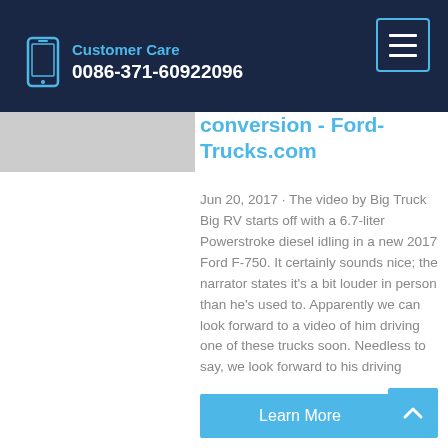Customer Care 0086-371-60922096
conversion - Ford-Trucks.com
Jun 20, 2017 · The video by Big Truck Big RV starts off with a 6.7-liter Powerstroke diesel idling in a new 2017 Ford F-750. It certainly sounds nice; the narrator states it's a bit louder in person than he's used to. Apparently we can look forward to a video of him driving one of these trucks soon. Needless to say, we look forward to his driving
Learn More